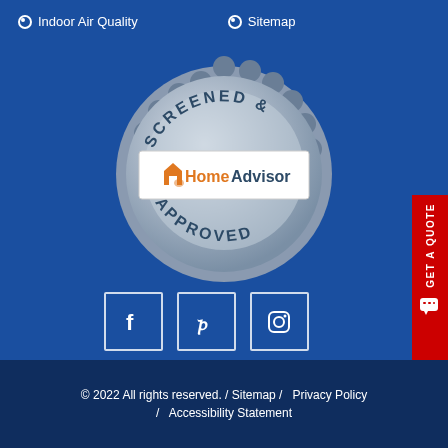Indoor Air Quality  Sitemap
[Figure (logo): HomeAdvisor Screened & Approved badge — circular silver seal with scalloped edge, text 'SCREENED &' arcing on top and 'APPROVED' arcing on bottom, white banner in center with HomeAdvisor logo (orange house icon, orange 'Home', dark 'Advisor')]
[Figure (other): GET A QUOTE red vertical sidebar button with chat bubble icon]
[Figure (other): Social media icons: Facebook, Pinterest, Instagram — each in a white outlined square box]
© 2022 All rights reserved. / Sitemap / Privacy Policy / Accessibility Statement